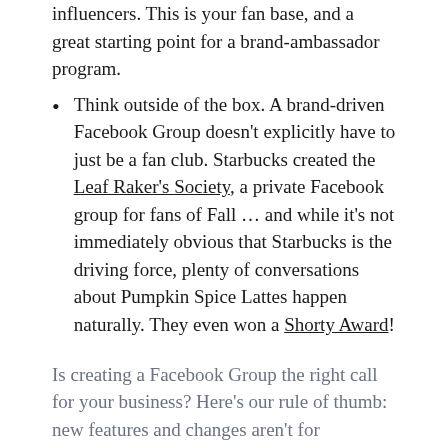influencers. This is your fan base, and a great starting point for a brand-ambassador program.
Think outside of the box. A brand-driven Facebook Group doesn't explicitly have to just be a fan club. Starbucks created the Leaf Raker's Society, a private Facebook group for fans of Fall ... and while it's not immediately obvious that Starbucks is the driving force, plenty of conversations about Pumpkin Spice Lattes happen naturally. They even won a Shorty Award!
Is creating a Facebook Group the right call for your business? Here's our rule of thumb: new features and changes aren't for everyone, but if a platform is choosing to highlight those features, they're worth